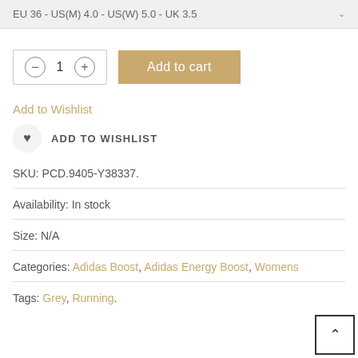EU 36 - US(M) 4.0 - US(W) 5.0 - UK 3.5
Add to cart (quantity control with minus, 1, plus buttons)
Add to Wishlist
ADD TO WISHLIST
SKU: PCD.9405-Y38337.
Availability: In stock
Size: N/A
Categories: Adidas Boost, Adidas Energy Boost, Womens
Tags: Grey, Running.